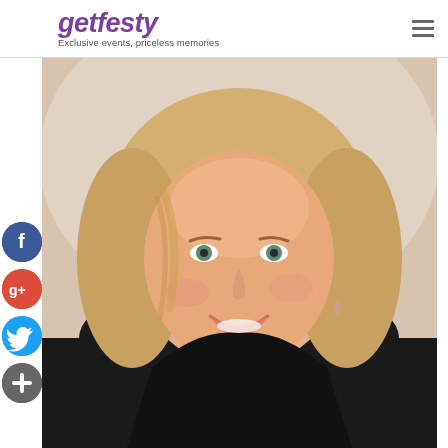getfesty — Exclusive events, priceless memories
[Figure (photo): Headshot of a smiling blonde woman in a dark jacket, photographed indoors with soft background lighting.]